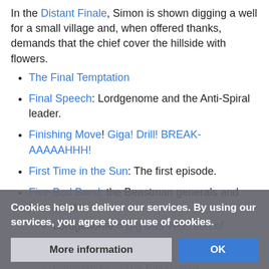In the Distant Finale, Simon is shown digging a well for a small village and, when offered thanks, demands that the chief cover the hillside with flowers.
The Final Temptation
Final Speech: Lordgenome and the Anti-Spiral leader.
Finishing Move! Giga! Drill! BREAK-AAAAAHHH!
First Time in the Sun: The first episode.
Five-Bad Band: the Beastman generals and their creator.
Lordgenome = Big Bad Well, sort of
Guame = The Dragon
Cytomander = The Evil Genius (faded/obscured)
Thymilph = The Brute (faded/obscured)
Adiane = Dark Chick (faded/obscured)
Cookies help us deliver our services. By using our services, you agree to our use of cookies.
More information | OK